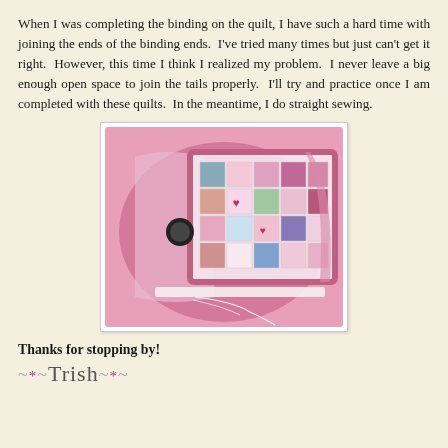When I was completing the binding on the quilt, I have such a hard time with joining the ends of the binding ends. I've tried many times but just can't get it right. However, this time I think I realized my problem. I never leave a big enough open space to join the tails properly. I'll try and practice once I am completed with these quilts. In the meantime, I do straight sewing.
[Figure (photo): Photo of a pink patchwork quilt with various embroidered and printed squares, partially folded, showing a decorative binding with pink fabric backing visible.]
Thanks for stopping by!
~*~Trish~*~